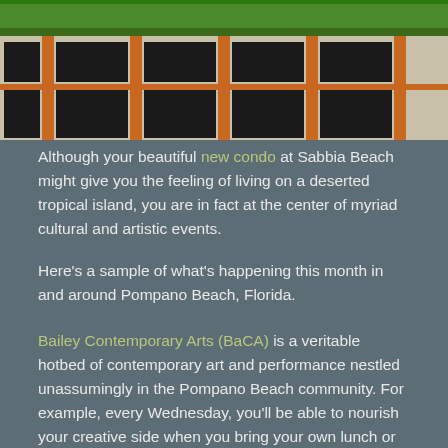[Figure (photo): Exterior photo of a building with green roof/canopy elements and orange window frames, appears to be Sabbia Beach or a nearby Pompano Beach location]
Although your beautiful new condo at Sabbia Beach might give you the feeling of living on a deserted tropical island, you are in fact at the center of myriad cultural and artistic events.
Here's a sample of what's happening this month in and around Pompano Beach, Florida.
Bailey Contemporary Arts (BaCA) is a veritable hotbed of contemporary art and performance nestled unassumingly in the Pompano Beach community. For example, every Wednesday, you'll be able to nourish your creative side when you bring your own lunch or pick up a little nosh at their in-house café and settle in for an hour in galleries among the art and artists. Lunch with Art features something different and captivating each week, whether special guest-artist speakers